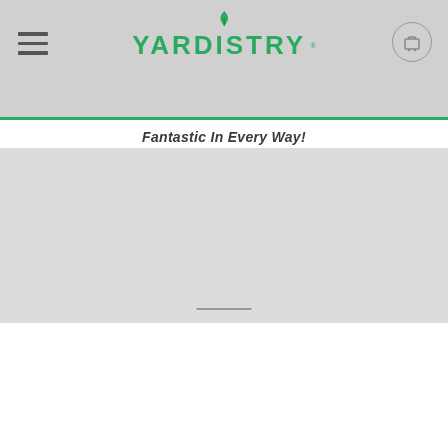YARDISTRY
Fantastic In Every Way!
[Figure (screenshot): Yardistry website header with logo, hamburger menu icon, shopping cart icon, and a tagline 'Fantastic In Every Way!' below a green separator line. Below is a large gray placeholder content area.]